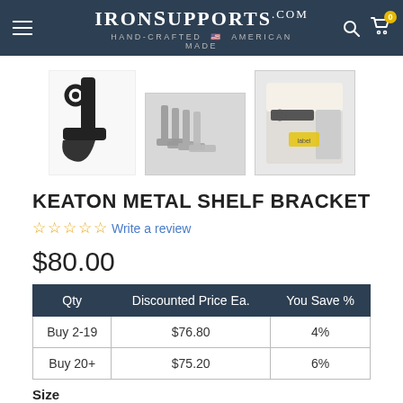IronSupports.com Hand-Crafted American Made
[Figure (photo): Three product photos of the Keaton Metal Shelf Bracket: a single black decorative bracket (left), multiple grey brackets stacked together (center), and the bracket installed on a shelf with a label visible (right).]
KEATON METAL SHELF BRACKET
☆ ☆ ☆ ☆ ☆ Write a review
$80.00
| Qty | Discounted Price Ea. | You Save % |
| --- | --- | --- |
| Buy 2-19 | $76.80 | 4% |
| Buy 20+ | $75.20 | 6% |
Size